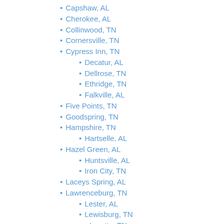Capshaw, AL
Cherokee, AL
Collinwood, TN
Cornersville, TN
Cypress Inn, TN
Decatur, AL
Dellrose, TN
Ethridge, TN
Falkville, AL
Five Points, TN
Goodspring, TN
Hampshire, TN
Hartselle, AL
Hazel Green, AL
Huntsville, AL
Iron City, TN
Laceys Spring, AL
Lawrenceburg, TN
Lester, AL
Lewisburg, TN
Loretto, TN
Lynchburg, TN